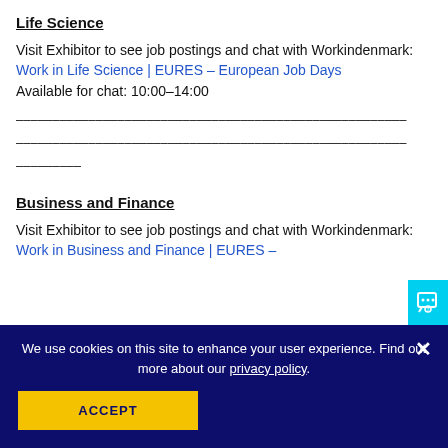Life Science
Visit Exhibitor to see job postings and chat with Workindenmark: Work in Life Science | EURES – European Job Days
Available for chat: 10:00–14:00
——————————————————————————————————————————————————————————————
Business and Finance
Visit Exhibitor to see job postings and chat with Workindenmark: Work in Business and Finance | EURES –
We use cookies on this site to enhance your user experience. Find out more about our privacy policy.
ACCEPT